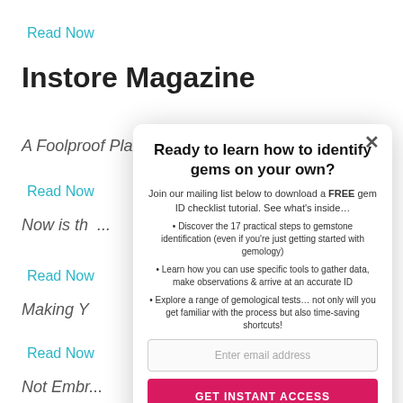Read Now
Instore Magazine
A Foolproof Plan to Crush It on Social Media
Read Now
Now is the...  'd Had
Read Now
Making Yo... iness
Read Now
Not Embr...
[Figure (screenshot): Modal popup overlay with title 'Ready to learn how to identify gems on your own?', mailing list signup form with bullet points about gem ID checklist, email input field, and GET INSTANT ACCESS button]